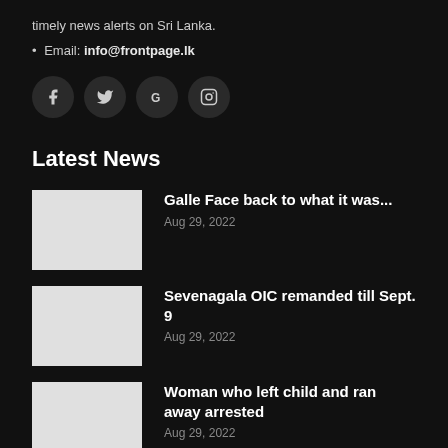timely news alerts on Sri Lanka.
• Email: info@frontpage.lk
[Figure (other): Social media icons: Facebook (f), Twitter (bird), Google (G), Instagram (camera)]
Latest News
[Figure (photo): Thumbnail image placeholder for Galle Face article]
Galle Face back to what it was...
Aug 29, 2022
[Figure (photo): Thumbnail image placeholder for Sevenagala OIC article]
Sevenagala OIC remanded till Sept. 9
Aug 29, 2022
[Figure (photo): Thumbnail image placeholder for Woman article]
Woman who left child and ran away arrested
Aug 29, 2022